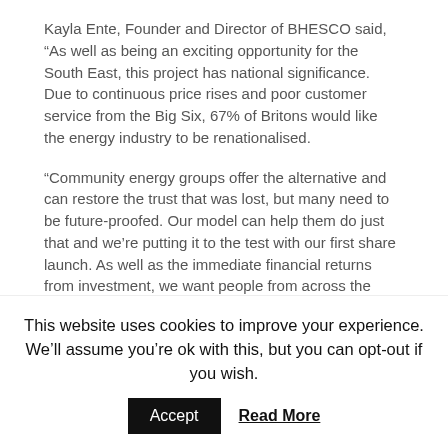Kayla Ente, Founder and Director of BHESCO said, “As well as being an exciting opportunity for the South East, this project has national significance. Due to continuous price rises and poor customer service from the Big Six, 67% of Britons would like the energy industry to be renationalised.
“Community energy groups offer the alternative and can restore the trust that was lost, but many need to be future-proofed. Our model can help them do just that and we’re putting it to the test with our first share launch. As well as the immediate financial returns from investment, we want people from across the country to see the wider potential of this project. The great thing is anyone can get involved.”
The first installations include a biomass boiler for an independent school in Hove and a total retrofit of energy
This website uses cookies to improve your experience. We’ll assume you’re ok with this, but you can opt-out if you wish.
Accept
Read More